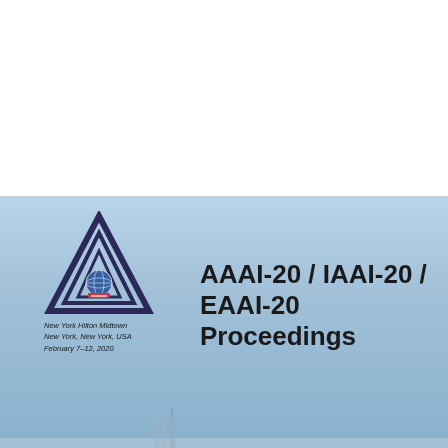[Figure (illustration): AAAI-20 conference proceedings cover page. Upper half is white/blank. Lower half shows a book cover with a blue sky background, AAAI triangular logo at upper left, venue text reading 'New York Hilton Midtown, New York, New York, USA, February 7–12, 2020', and large bold title text 'AAAI-20 / IAAI-20 / EAAI-20 Proceedings'. Bottom of the cover shows a faint building/cityscape silhouette.]